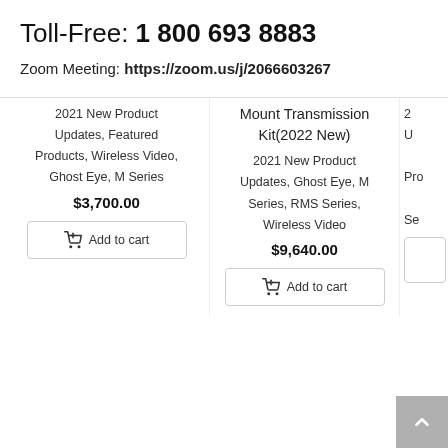Toll-Free: 1 800 693 8883
Zoom Meeting: https://zoom.us/j/2066603267
2021 New Product Updates, Featured Products, Wireless Video, Ghost Eye, M Series
$3,700.00
Add to cart
Mount Transmission Kit(2022 New)
2021 New Product Updates, Ghost Eye, M Series, RMS Series, Wireless Video
$9,640.00
Add to cart
U
Pro
Se
...